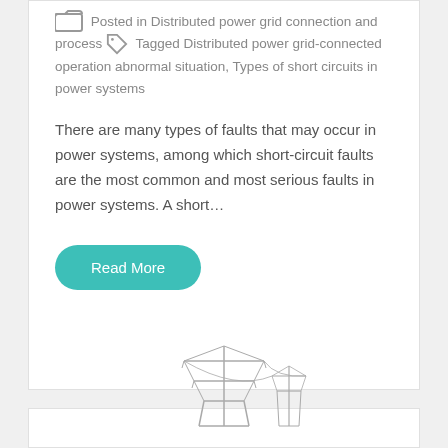Posted in Distributed power grid connection and process Tagged Distributed power grid-connected operation abnormal situation, Types of short circuits in power systems
There are many types of faults that may occur in power systems, among which short-circuit faults are the most common and most serious faults in power systems. A short…
Read More
[Figure (illustration): Partial view of an engineering illustration showing power grid or transmission tower equipment, visible at the bottom of the page.]